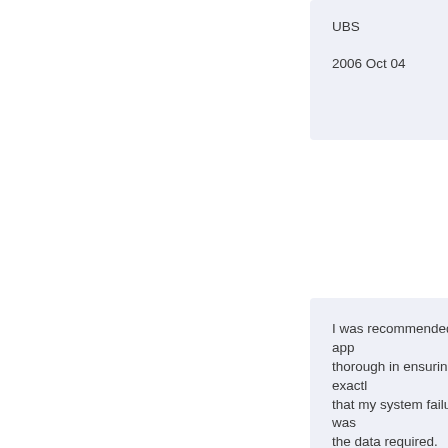UBS
2006 Oct 04
I was recommended to app thorough in ensuring exactl that my system failure was the data required.
Colin Ip
Home User